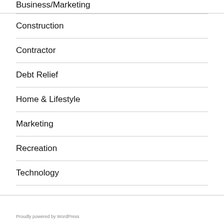Business/Marketing
Construction
Contractor
Debt Relief
Home & Lifestyle
Marketing
Recreation
Technology
Proudly powered by WordPress